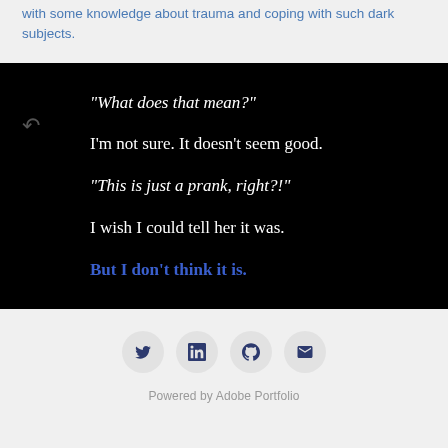with some knowledge about trauma and coping with such dark subjects.
[Figure (screenshot): Black background text excerpt from a story with dialogue and narrative text including: "What does that mean?" / I'm not sure. It doesn't seem good. / "This is just a prank, right?!" / I wish I could tell her it was. / But I don't think it is. (last line in blue bold)]
Powered by Adobe Portfolio